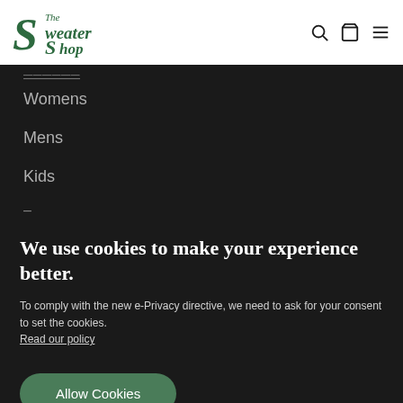[Figure (logo): The Sweater Shop logo in dark green italic serif font]
Womens
Mens
Kids
–
We use cookies to make your experience better.
To comply with the new e-Privacy directive, we need to ask for your consent to set the cookies. Read our policy
Allow Cookies